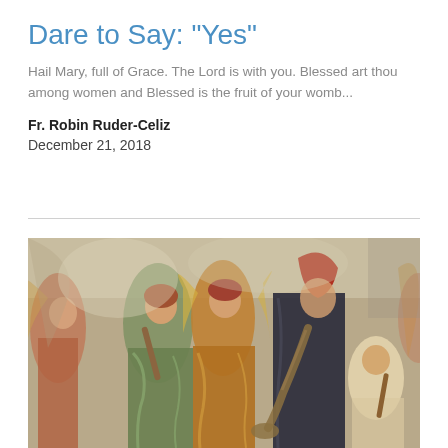Dare to Say: "Yes"
Hail Mary, full of Grace. The Lord is with you. Blessed art thou among women and Blessed is the fruit of your womb...
Fr. Robin Ruder-Celiz
December 21, 2018
[Figure (illustration): A Renaissance-style fresco or painting depicting several angels in colorful robes (red, green, gold) playing musical instruments. One angel in a dark cloak holds a large trumpet, another plays a flute. The figures have wings and are set against a light background with warm golden and grey tones.]